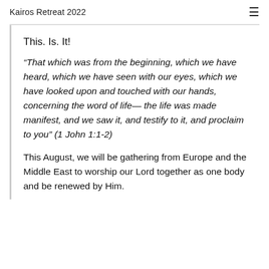Kairos Retreat 2022
This. Is. It!
“That which was from the beginning, which we have heard, which we have seen with our eyes, which we have looked upon and touched with our hands, concerning the word of life— the life was made manifest, and we saw it, and testify to it, and proclaim to you” (1 John 1:1-2)
This August, we will be gathering from Europe and the Middle East to worship our Lord together as one body and be renewed by Him.